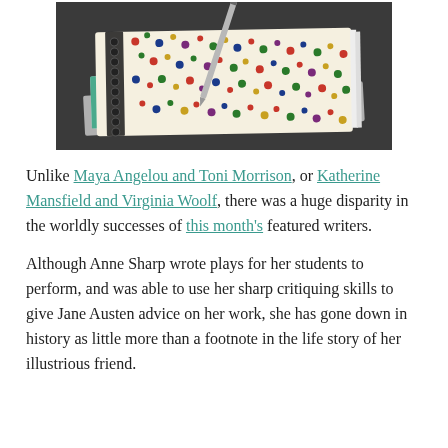[Figure (photo): A spiral-bound notebook with a colorful patterned cover (multicolored dots/shapes), a pen resting on top, and other notebooks stacked underneath, on a dark textured surface.]
Unlike Maya Angelou and Toni Morrison, or Katherine Mansfield and Virginia Woolf, there was a huge disparity in the worldly successes of this month's featured writers.
Although Anne Sharp wrote plays for her students to perform, and was able to use her sharp critiquing skills to give Jane Austen advice on her work, she has gone down in history as little more than a footnote in the life story of her illustrious friend.